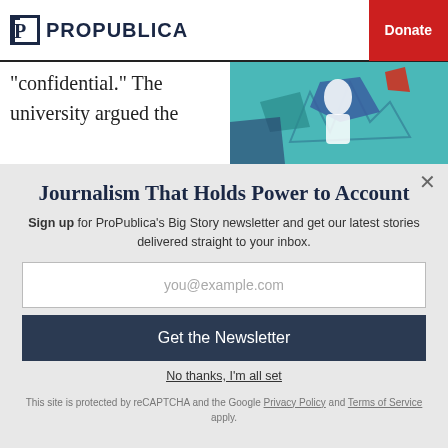ProPublica | Donate
“confidential.” The university argued the
Journalism That Holds Power to Account
Sign up for ProPublica’s Big Story newsletter and get our latest stories delivered straight to your inbox.
you@example.com
Get the Newsletter
No thanks, I’m all set
This site is protected by reCAPTCHA and the Google Privacy Policy and Terms of Service apply.